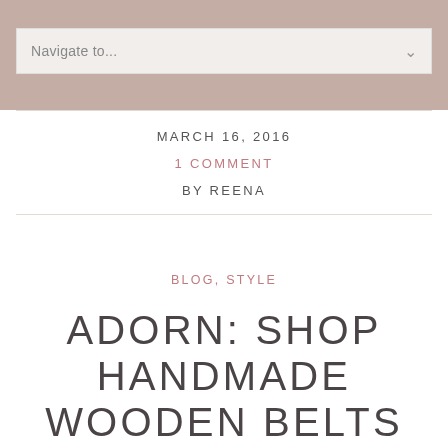Navigate to...
MARCH 16, 2016
1 COMMENT
BY REENA
BLOG, STYLE
ADORN: SHOP HANDMADE WOODEN BELTS NOW IN THE ETSY SHOP